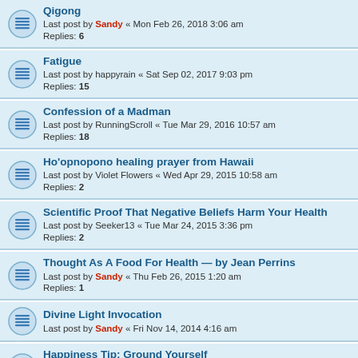Qigong
Last post by Sandy « Mon Feb 26, 2018 3:06 am
Replies: 6
Fatigue
Last post by happyrain « Sat Sep 02, 2017 9:03 pm
Replies: 15
Confession of a Madman
Last post by RunningScroll « Tue Mar 29, 2016 10:57 am
Replies: 18
Ho'opnopono healing prayer from Hawaii
Last post by Violet Flowers « Wed Apr 29, 2015 10:58 am
Replies: 2
Scientific Proof That Negative Beliefs Harm Your Health
Last post by Seeker13 « Tue Mar 24, 2015 3:36 pm
Replies: 2
Thought As A Food For Health — by Jean Perrins
Last post by Sandy « Thu Feb 26, 2015 1:20 am
Replies: 1
Divine Light Invocation
Last post by Sandy « Fri Nov 14, 2014 4:16 am
Happiness Tip: Ground Yourself
Last post by lilly « Tue Sep 09, 2014 9:22 am
Replies: 7
Heart-Centered Healing Produces The Most Powerful Effect
Last post by lilly « Sat Sep 06, 2014 3:41 pm
Replies: 2
The Effect of Positive Emotions on Our Health — by Bhavika